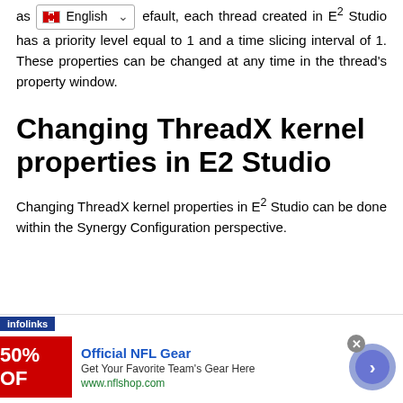as [English dropdown] efault, each thread created in E² Studio has a priority level equal to 1 and a time slicing interval of 1. These properties can be changed at any time in the thread's property window.
Changing ThreadX kernel properties in E2 Studio
Changing ThreadX kernel properties in E² Studio can be done within the Synergy Configuration perspective.
[Figure (screenshot): Infolinks advertisement banner: Official NFL Gear - Get Your Favorite Team's Gear Here, www.nflshop.com, with 50% OFF red banner image and navigation button]